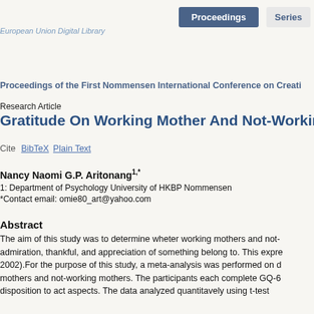Proceedings | Series | European Union Digital Library
Proceedings of the First Nommensen International Conference on Creati...
Research Article
Gratitude On Working Mother And Not-Working Mother
Cite  BibTeX  Plain Text
Nancy Naomi G.P. Aritonang1,*
1: Department of Psychology University of HKBP Nommensen
*Contact email: omie80_art@yahoo.com
Abstract
The aim of this study was to determine wheter working mothers and not- admiration, thankful, and appreciation of something belong to. This expre 2002).For the purpose of this study, a meta-analysis was performed on d mothers and not-working mothers. The participants each complete GQ-6 disposition to act aspects. The data analyzed quantitavely using t-test...